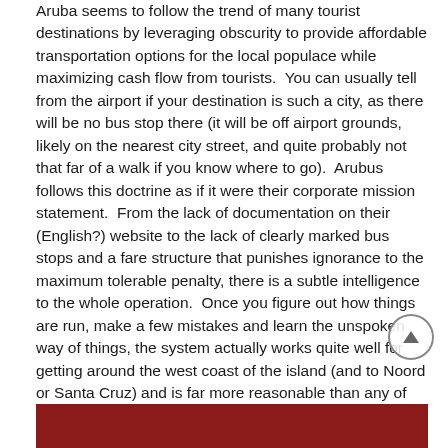Aruba seems to follow the trend of many tourist destinations by leveraging obscurity to provide affordable transportation options for the local populace while maximizing cash flow from tourists.  You can usually tell from the airport if your destination is such a city, as there will be no bus stop there (it will be off airport grounds, likely on the nearest city street, and quite probably not that far of a walk if you know where to go).  Arubus follows this doctrine as if it were their corporate mission statement.  From the lack of documentation on their (English?) website to the lack of clearly marked bus stops and a fare structure that punishes ignorance to the maximum tolerable penalty, there is a subtle intelligence to the whole operation.  Once you figure out how things are run, make a few mistakes and learn the unspoken way of things, the system actually works quite well for getting around the west coast of the island (and to Noord or Santa Cruz) and is far more reasonable than any of the other alternatives.
[Figure (other): Partial view of a red-bordered/red-background content box at the bottom of the page, cut off]